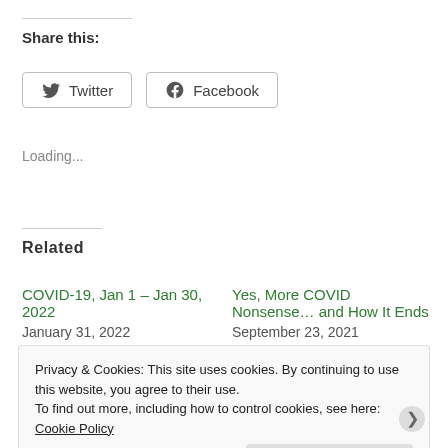Share this:
Twitter   Facebook
Loading...
Related
COVID-19, Jan 1 – Jan 30, 2022
January 31, 2022
With 2 comments
Yes, More COVID Nonsense… and How It Ends
September 23, 2021
Privacy & Cookies: This site uses cookies. By continuing to use this website, you agree to their use.
To find out more, including how to control cookies, see here: Cookie Policy
Close and accept